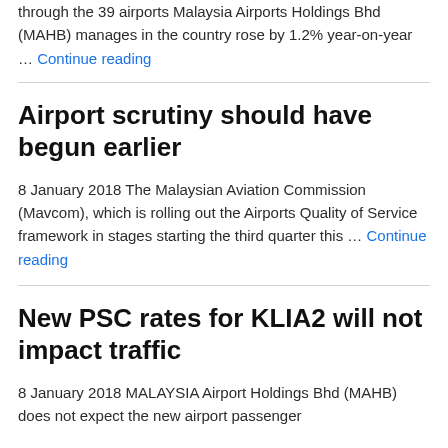through the 39 airports Malaysia Airports Holdings Bhd (MAHB) manages in the country rose by 1.2% year-on-year … Continue reading
Airport scrutiny should have begun earlier
8 January 2018 The Malaysian Aviation Commission (Mavcom), which is rolling out the Airports Quality of Service framework in stages starting the third quarter this … Continue reading
New PSC rates for KLIA2 will not impact traffic
8 January 2018 MALAYSIA Airport Holdings Bhd (MAHB) does not expect the new airport passenger